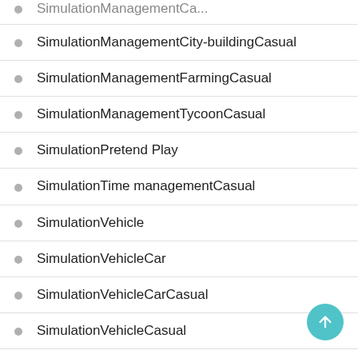SimulationManagementCa...
SimulationManagementCity-buildingCasual
SimulationManagementFarmingCasual
SimulationManagementTycoonCasual
SimulationPretend Play
SimulationTime managementCasual
SimulationVehicle
SimulationVehicleCar
SimulationVehicleCarCasual
SimulationVehicleCasual